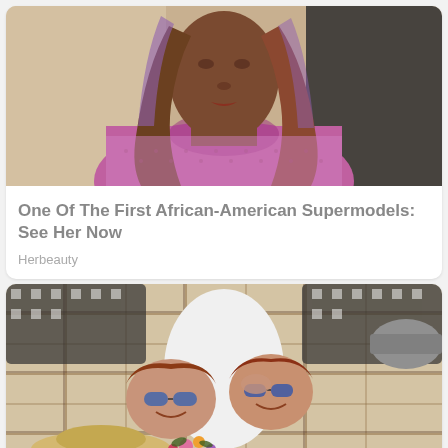[Figure (photo): Fashion model with long brown-to-purple highlighted hair wearing a pink/lavender textured crop top, photographed from the chest up against a blurred background]
One Of The First African-American Supermodels: See Her Now
Herbeauty
[Figure (photo): Two smiling young women with red hair lying on a plaid picnic blanket, wearing sunglasses, viewed from above. A straw hat and flowers visible near them.]